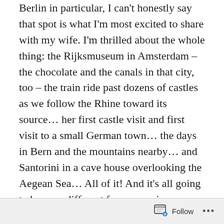Despite my obvious devotion and repeated love ballads to Berlin in particular, I can't honestly say that spot is what I'm most excited to share with my wife. I'm thrilled about the whole thing: the Rijksmuseum in Amsterdam – the chocolate and the canals in that city, too – the train ride past dozens of castles as we follow the Rhine toward its source… her first castle visit and first visit to a small German town… the days in Bern and the mountains nearby… and Santorini in a cave house overlooking the Aegean Sea… All of it! And it's all going to be very different from my prior excursions. We may not even stay in one hostel! Shock and awe! Whatever we're in for, I'm game for it, and I know it will create for us a shared memory we will both look back on for the rest of our days.
We're just shy of 60 days from takeoff, and it's mostly what
Follow ···